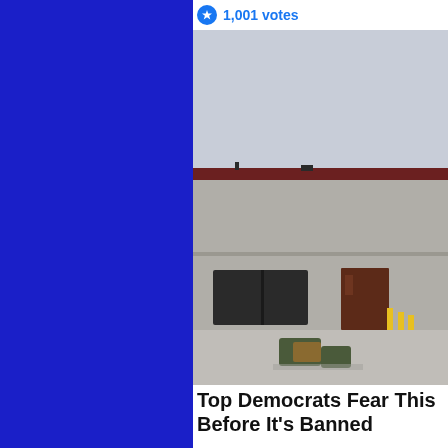1,001 votes
[Figure (photo): Exterior of a large concrete building with a dark red/maroon roof trim. In the foreground on a concrete parking lot are some green military-style bags/equipment. The building has dark-tinted windows and a brown door on the right side with yellow bollards. Sky is overcast/light grey.]
Top Democrats Fear This Before It's Banned